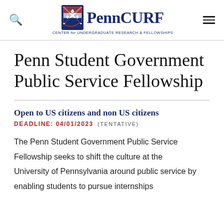PennCURF — CENTER for UNDERGRADUATE RESEARCH & FELLOWSHIPS
Penn Student Government Public Service Fellowship
Open to US citizens and non US citizens
DEADLINE: 04/01/2023 (TENTATIVE)
The Penn Student Government Public Service Fellowship seeks to shift the culture at the University of Pennsylvania around public service by enabling students to pursue internships